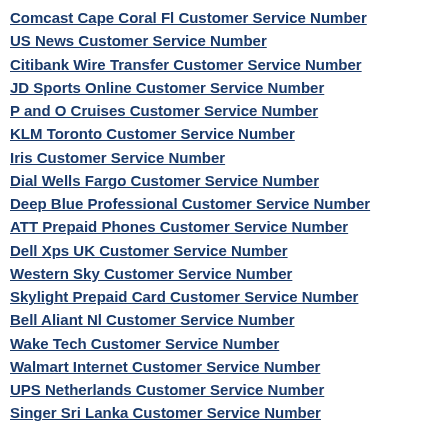Comcast Cape Coral Fl Customer Service Number
US News Customer Service Number
Citibank Wire Transfer Customer Service Number
JD Sports Online Customer Service Number
P and O Cruises Customer Service Number
KLM Toronto Customer Service Number
Iris Customer Service Number
Dial Wells Fargo Customer Service Number
Deep Blue Professional Customer Service Number
ATT Prepaid Phones Customer Service Number
Dell Xps UK Customer Service Number
Western Sky Customer Service Number
Skylight Prepaid Card Customer Service Number
Bell Aliant Nl Customer Service Number
Wake Tech Customer Service Number
Walmart Internet Customer Service Number
UPS Netherlands Customer Service Number
Singer Sri Lanka Customer Service Number